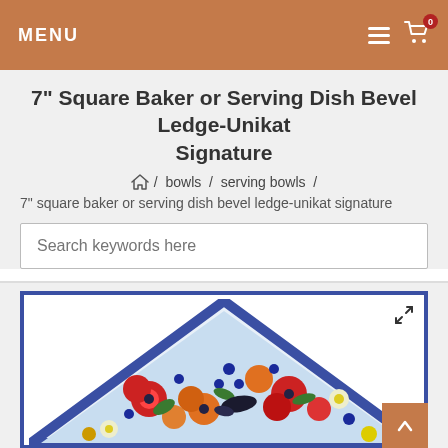MENU
7" Square Baker or Serving Dish Bevel Ledge-Unikat Signature
/ bowls / serving bowls /
7" square baker or serving dish bevel ledge-unikat signature
Search keywords here
[Figure (photo): Corner view of a 7 inch square baker dish with blue border and colorful floral pattern including red, orange, and blue flowers on white background. Framed with a blue border. Expand icon visible in top right corner.]